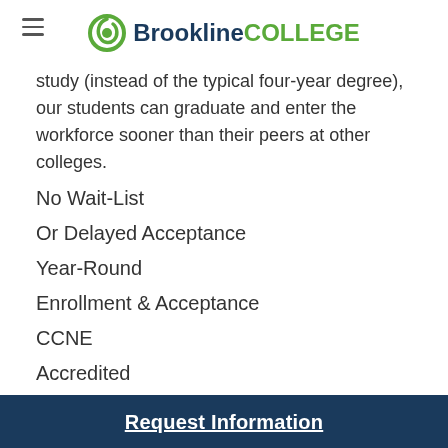Brookline COLLEGE
study (instead of the typical four-year degree), our students can graduate and enter the workforce sooner than their peers at other colleges.
No Wait-List
Or Delayed Acceptance
Year-Round
Enrollment & Acceptance
CCNE
Accredited
Get Started ›
Request Information